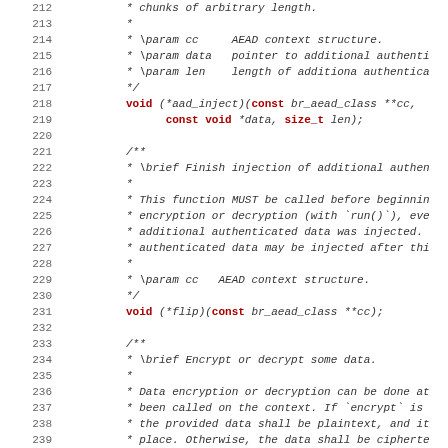Source code listing, lines 212-243, showing C API documentation comments and function declarations for AEAD (Authenticated Encryption with Associated Data) context structure including aad_inject, flip, and run functions.